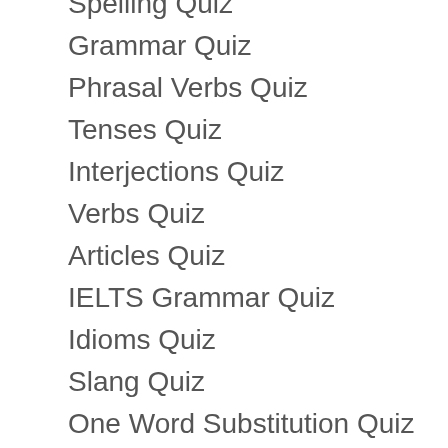Spelling Quiz
Grammar Quiz
Phrasal Verbs Quiz
Tenses Quiz
Interjections Quiz
Verbs Quiz
Articles Quiz
IELTS Grammar Quiz
Idioms Quiz
Slang Quiz
One Word Substitution Quiz
Conjunctions Quiz
Synonyms Quiz